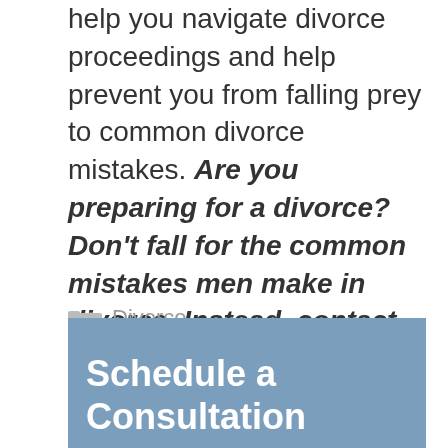help you navigate divorce proceedings and help prevent you from falling prey to common divorce mistakes. Are you preparing for a divorce? Don't fall for the common mistakes men make in divorce. Instead, contact us today at 360-866-7293 or schedule a consultation online.
Divorce
Schedule a Consultation